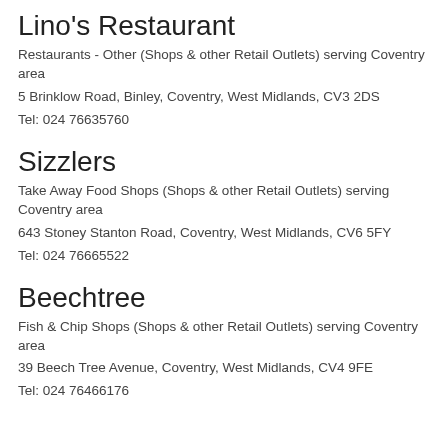Lino's Restaurant
Restaurants - Other (Shops & other Retail Outlets) serving Coventry area
5 Brinklow Road, Binley, Coventry, West Midlands, CV3 2DS
Tel: 024 76635760
Sizzlers
Take Away Food Shops (Shops & other Retail Outlets) serving Coventry area
643 Stoney Stanton Road, Coventry, West Midlands, CV6 5FY
Tel: 024 76665522
Beechtree
Fish & Chip Shops (Shops & other Retail Outlets) serving Coventry area
39 Beech Tree Avenue, Coventry, West Midlands, CV4 9FE
Tel: 024 76466176